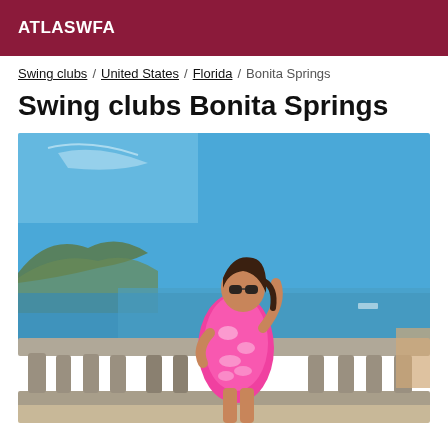ATLASWFA
Swing clubs / United States / Florida / Bonita Springs
Swing clubs Bonita Springs
[Figure (photo): A young woman wearing sunglasses and a pink and white patterned mini dress, posing outdoors on a terrace with stone balustrade railing, blue sky and water visible in background, hills on the left side.]